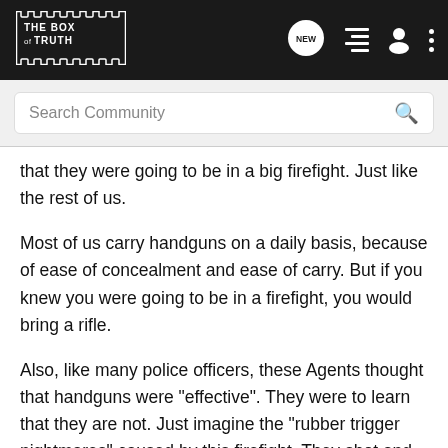THE BOX OF TRUTH — navigation bar with logo, NEW chat icon, list icon, person icon, more options icon
Search Community
that they were going to be in a big firefight. Just like the rest of us.
Most of us carry handguns on a daily basis, because of ease of concealment and ease of carry. But if you knew you were going to be in a firefight, you would bring a rifle.
Also, like many police officers, these Agents thought that handguns were "effective". They were to learn that they are not. Just imagine the "rubber trigger nightmares" caused by this firefight. They shot and shot the bad guys, but the bad guys just kept on fighting.